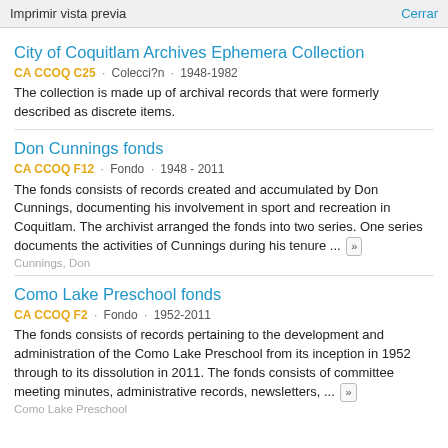Imprimir vista previa   Cerrar
City of Coquitlam Archives Ephemera Collection
CA CCOQ C25 · Colecci?n · 1948-1982
The collection is made up of archival records that were formerly described as discrete items.
Don Cunnings fonds
CA CCOQ F12 · Fondo · 1948 - 2011
The fonds consists of records created and accumulated by Don Cunnings, documenting his involvement in sport and recreation in Coquitlam. The archivist arranged the fonds into two series. One series documents the activities of Cunnings during his tenure ...
Cunnings, Don
Como Lake Preschool fonds
CA CCOQ F2 · Fondo · 1952-2011
The fonds consists of records pertaining to the development and administration of the Como Lake Preschool from its inception in 1952 through to its dissolution in 2011. The fonds consists of committee meeting minutes, administrative records, newsletters, ...
Como Lake Preschool